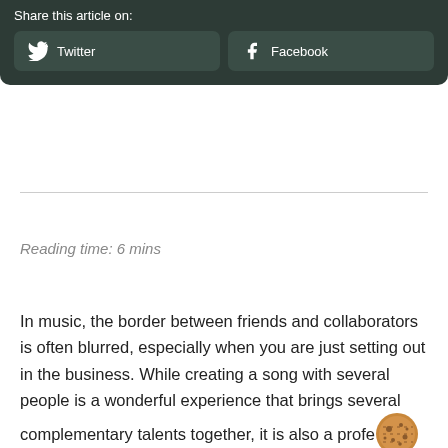Français | Share this article on: | Twitter | Facebook
Reading time: 6 mins
In music, the border between friends and collaborators is often blurred, especially when you are just setting out in the business. While creating a song with several people is a wonderful experience that brings several complementary talents together, it is also a professional adventure. Whether you are part of a band or you make a